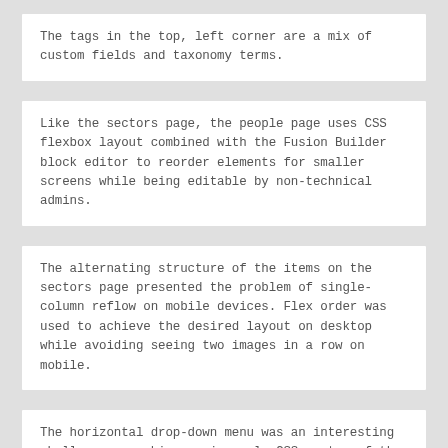The tags in the top, left corner are a mix of custom fields and taxonomy terms.
Like the sectors page, the people page uses CSS flexbox layout combined with the Fusion Builder block editor to reorder elements for smaller screens while being editable by non-technical admins.
The alternating structure of the items on the sectors page presented the problem of single-column reflow on mobile devices. Flex order was used to achieve the desired layout on desktop while avoiding seeing two images in a row on mobile.
The horizontal drop-down menu was an interesting challenge wo achieve using only CSS on top of the Avada parent theme's menu markup.
The contact page includes a form protected by reCAPTCHA.